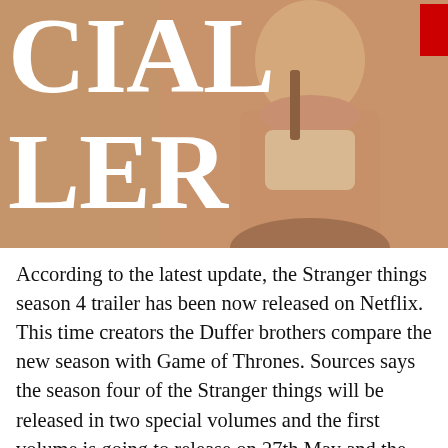[Figure (photo): A cropped image with large white bold serif letters 'CIAL' on top and 'LER' below overlaid on a warm brown/tan background showing a person in light clothing. A small red badge appears in the upper right corner.]
According to the latest update, the Stranger things season 4 trailer has been now released on Netflix.  This time creators the Duffer brothers compare the new season with Game of Thrones. Sources says the season four of the Stranger things will be released in two special volumes and the first volume is going to release on 27th May and the second volume will release after 5 weeks